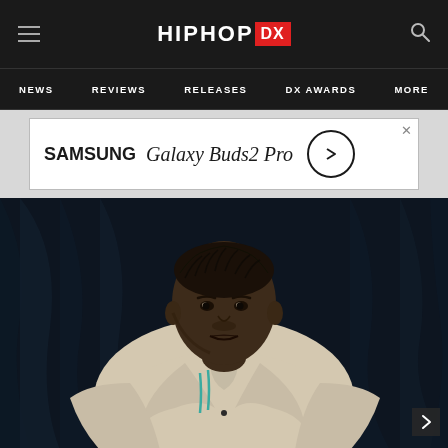HipHopDX - NEWS, REVIEWS, RELEASES, DX AWARDS, MORE
[Figure (screenshot): Samsung Galaxy Buds2 Pro advertisement banner]
[Figure (photo): Portrait photo of a male hip-hop artist wearing a cream/beige varsity jacket with teal stripe details, seated against a dark draped background, looking directly at camera with a serious expression]